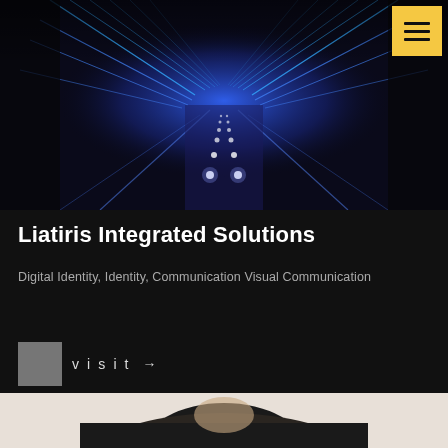[Figure (photo): Dark blue-lit architectural corridor or bridge with neon blue arched structure and glowing floor lights receding into the distance]
Liatiris Integrated Solutions
Digital Identity, Identity, Communication Visual Communication
visit →
[Figure (photo): Partial photo of a person in dark clothing, only top of head visible at bottom of page]